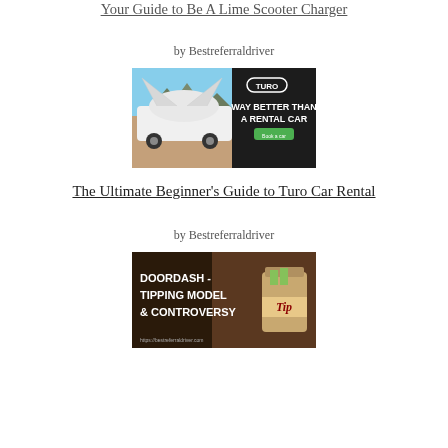Your Guide to Be A Lime Scooter Charger
by Bestreferraldriver
[Figure (photo): Turo advertisement banner showing a white Tesla Model X with falcon-wing doors open in a desert landscape, with text 'WAY BETTER THAN A RENTAL CAR' on dark background with Turo logo and a green button]
The Ultimate Beginner's Guide to Turo Car Rental
by Bestreferraldriver
[Figure (photo): DoorDash tipping model & controversy promotional image with dark background, large bold white text reading 'DOORDASH - TIPPING MODEL & CONTROVERSY' and a jar with 'Tip' label on the right side]